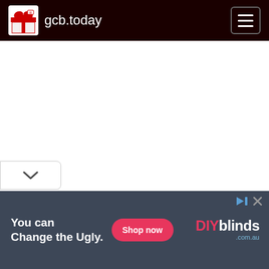gcb.today
[Figure (screenshot): White blank content area below navigation bar]
[Figure (infographic): Collapsed tab with chevron/down arrow at bottom left]
[Figure (infographic): Advertisement banner: 'You can Change the Ugly.' with Shop now button and DIYblinds.com.au logo on dark grey background]